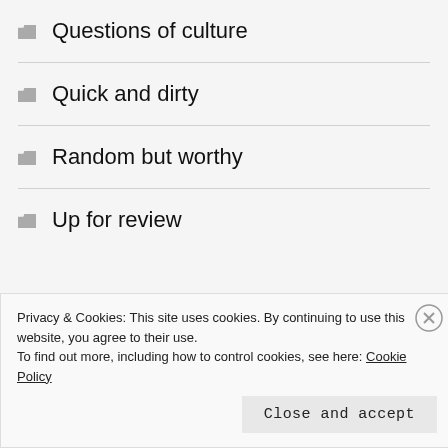Questions of culture
Quick and dirty
Random but worthy
Up for review
THE ODD THOUGHTS ON TWITTER My Tweets
Privacy & Cookies: This site uses cookies. By continuing to use this website, you agree to their use.
To find out more, including how to control cookies, see here: Cookie Policy
Close and accept